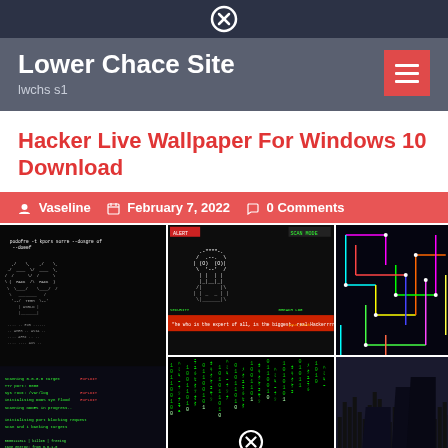Lower Chace Site — lwchs s1
Hacker Live Wallpaper For Windows 10 Download
Vaseline  February 7, 2022  0 Comments
[Figure (screenshot): A collage of hacker-themed live wallpapers for Windows 10: left panel shows a terminal/ASCII eagle on black background with command-line text below; center top shows a skull ASCII art on dark background with red text; center bottom shows a Matrix-style green text rain; right top shows a neon-colored circuit/maze on black background; right bottom shows a dark wave/audio visualizer graphic.]